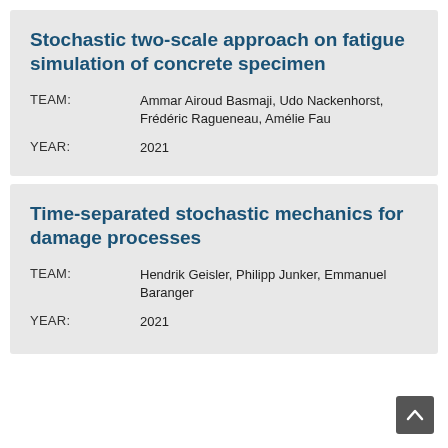Stochastic two-scale approach on fatigue simulation of concrete specimen
TEAM: Ammar Airoud Basmaji, Udo Nackenhorst, Frédéric Ragueneau, Amélie Fau
YEAR: 2021
Time-separated stochastic mechanics for damage processes
TEAM: Hendrik Geisler, Philipp Junker, Emmanuel Baranger
YEAR: 2021